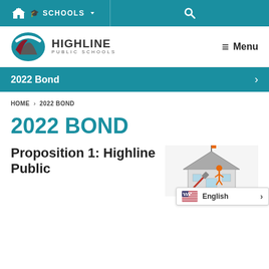SCHOOLS  (navigation bar with search icon)
[Figure (logo): Highline Public Schools logo with teal and maroon graphic mark and text HIGHLINE PUBLIC SCHOOLS]
Menu
2022 Bond
HOME > 2022 BOND
2022 BOND
Proposition 1: Highline Public
[Figure (illustration): Illustration of a school building with students and KEEPING text at bottom, with language selector showing English]
English